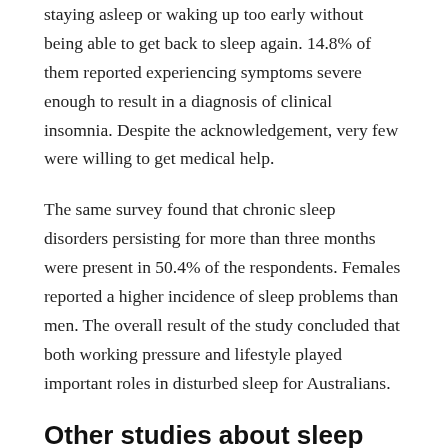staying asleep or waking up too early without being able to get back to sleep again. 14.8% of them reported experiencing symptoms severe enough to result in a diagnosis of clinical insomnia. Despite the acknowledgement, very few were willing to get medical help.
The same survey found that chronic sleep disorders persisting for more than three months were present in 50.4% of the respondents. Females reported a higher incidence of sleep problems than men. The overall result of the study concluded that both working pressure and lifestyle played important roles in disturbed sleep for Australians.
Other studies about sleep health and its outcomes
Another Australian study conducted in 2016 about the sleep health of Australians yielded significant results as well. Out of